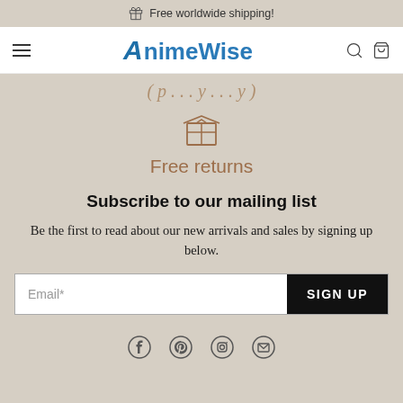Free worldwide shipping!
[Figure (logo): AnimeWise logo with navigation bar including hamburger menu, search and bag icons]
(partially visible italic text)
[Figure (illustration): Box/package icon for Free returns]
Free returns
Subscribe to our mailing list
Be the first to read about our new arrivals and sales by signing up below.
[Figure (other): Email signup form with Email* input field and SIGN UP button]
[Figure (other): Social media icons: Facebook, Pinterest, Instagram, Email]